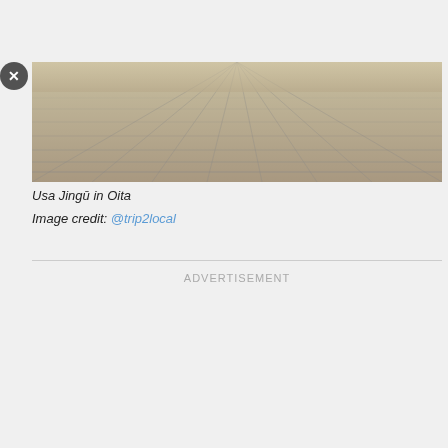[Figure (photo): Aerial perspective view of stone/concrete paving tiles at Usa Jingu shrine in Oita, Japan. The tiles recede into the distance with strong perspective lines.]
Usa Jingū in Oita
Image credit: @trip2local
ADVERTISEMENT